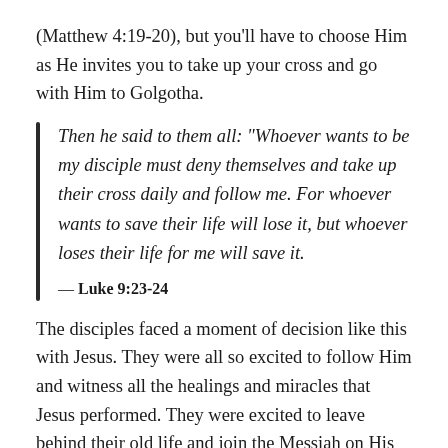(Matthew 4:19-20), but you'll have to choose Him as He invites you to take up your cross and go with Him to Golgotha.
Then he said to them all: "Whoever wants to be my disciple must deny themselves and take up their cross daily and follow me. For whoever wants to save their life will lose it, but whoever loses their life for me will save it."
— Luke 9:23-24
The disciples faced a moment of decision like this with Jesus. They were all so excited to follow Him and witness all the healings and miracles that Jesus performed. They were excited to leave behind their old life and join the Messiah on His quest to save…